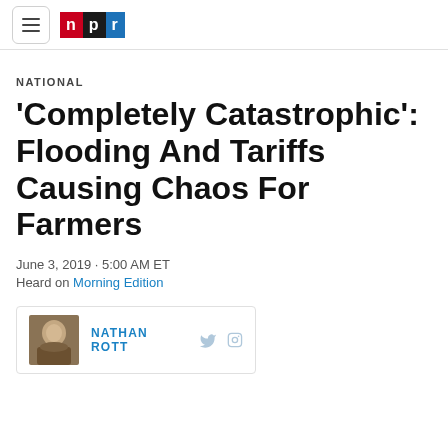NPR navigation header with hamburger menu and NPR logo
NATIONAL
‘Completely Catastrophic’: Flooding And Tariffs Causing Chaos For Farmers
June 3, 2019 · 5:00 AM ET
Heard on Morning Edition
NATHAN ROTT